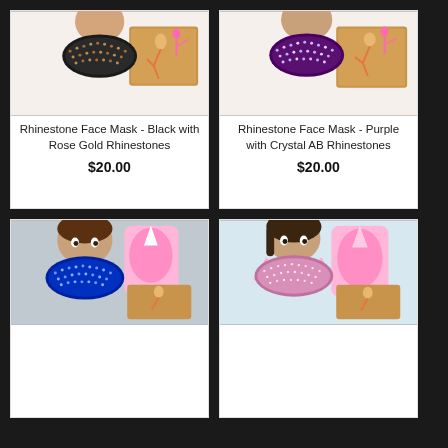[Figure (photo): Mannequin head wearing a black rhinestone face mask with rose gold rhinestones, with a gymnastics-themed wooden sign in background]
Rhinestone Face Mask - Black with Rose Gold Rhinestones
$20.00
[Figure (photo): Mannequin head wearing a purple rhinestone face mask with crystal AB rhinestones, with a gymnastics-themed wooden sign in background]
Rhinestone Face Mask - Purple with Crystal AB Rhinestones
$20.00
[Figure (photo): Mannequin head wearing a blue rhinestone face mask with a unicorn decoration and gymnastics-themed wooden sign in background]
[Figure (photo): Mannequin head wearing a pink/light glitter face mask with a unicorn decoration and gymnastics-themed wooden sign in background]